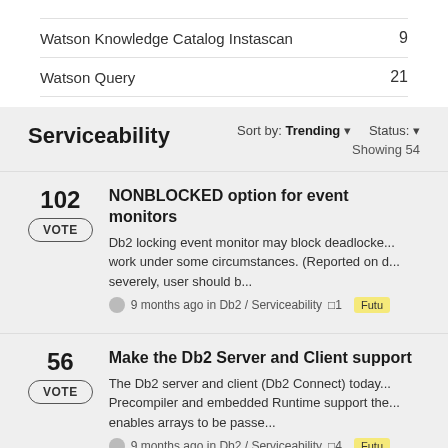Watson Knowledge Catalog Instascan  9
Watson Query  21
Serviceability
Sort by: Trending  Status:  Showing 54
102  NONBLOCKED option for event monitors
VOTE
Db2 locking event monitor may block deadlocke... work under some circumstances. (Reported on d... severely, user should b...
9 months ago in Db2 / Serviceability  1  Futu
56  Make the Db2 Server and Client support
VOTE
The Db2 server and client (Db2 Connect) today... Precompiler and embedded Runtime support the... enables arrays to be passe...
9 months ago in Db2 / Serviceability  4  Futu